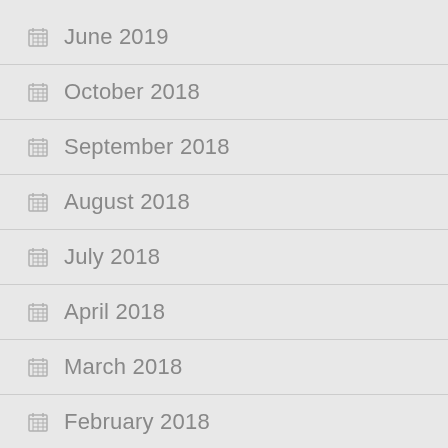June 2019
October 2018
September 2018
August 2018
July 2018
April 2018
March 2018
February 2018
January 2018